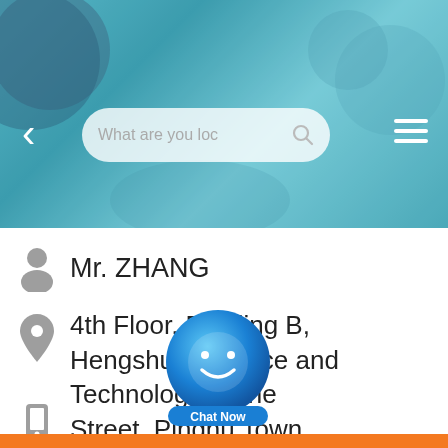[Figure (screenshot): Mobile app screenshot showing a search bar with text 'What are you loc' and navigation icons on a blurred teal/blue background]
Mr. ZHANG
4th Floor, Building B, Hengshun Science and Technology Cuihe Street, Pinghu Town, Longgang District, Shenzhen, Guangdong Province
[Figure (illustration): Chat Now button overlay with blue circle, smiley icon, and 'Chat Now' label]